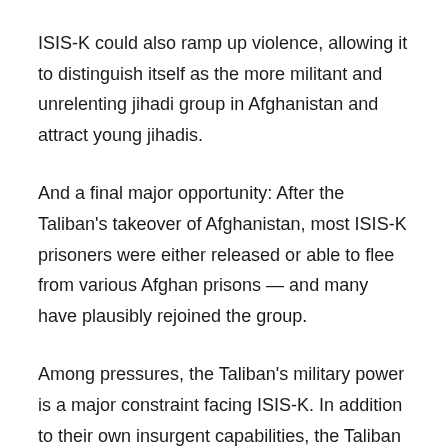ISIS-K could also ramp up violence, allowing it to distinguish itself as the more militant and unrelenting jihadi group in Afghanistan and attract young jihadis.
And a final major opportunity: After the Taliban's takeover of Afghanistan, most ISIS-K prisoners were either released or able to flee from various Afghan prisons — and many have plausibly rejoined the group.
Among pressures, the Taliban's military power is a major constraint facing ISIS-K. In addition to their own insurgent capabilities, the Taliban have inherited the security institutions and military capabilities of the former Afghan government. With the Taliban consolidating control, ISIS-K...